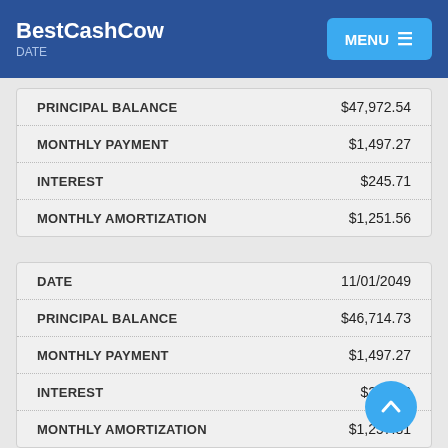BestCashCow
|  |  |
| --- | --- |
| PRINCIPAL BALANCE | $47,972.54 |
| MONTHLY PAYMENT | $1,497.27 |
| INTEREST | $245.71 |
| MONTHLY AMORTIZATION | $1,251.56 |
| DATE | 11/01/2049 |
| --- | --- |
| PRINCIPAL BALANCE | $46,714.73 |
| MONTHLY PAYMENT | $1,497.27 |
| INTEREST | $239.46 |
| MONTHLY AMORTIZATION | $1,257.81 |